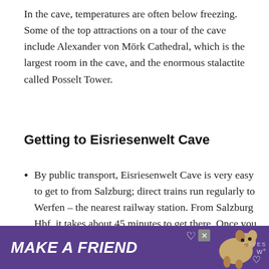In the cave, temperatures are often below freezing. Some of the top attractions on a tour of the cave include Alexander von Mörk Cathedral, which is the largest room in the cave, and the enormous stalactite called Posselt Tower.
Getting to Eisriesenwelt Cave
By public transport, Eisriesenwelt Cave is very easy to get to from Salzburg; direct trains run regularly to Werfen – the nearest railway station. From Salzburg Hbf, it takes about 45 minutes to get there. Once you arrive, you'll find shuttle buses that will take you to the spectacular cave
[Figure (other): Advertisement banner with purple background reading MAKE A FRIEND with a dog image and heart icons]